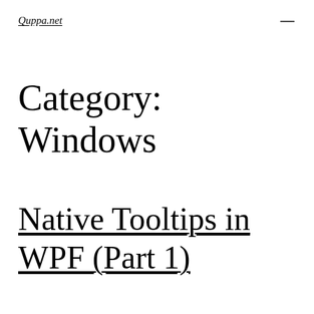Quppa.net
Category: Windows
Native Tooltips in WPF (Part 1)